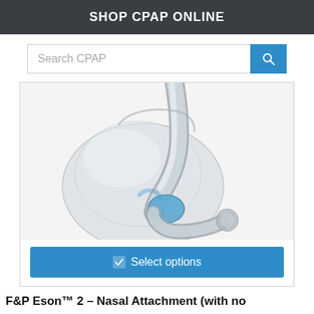SHOP CPAP ONLINE
[Figure (screenshot): Search bar with text 'Search CPAP' and a blue search button with magnifying glass icon]
[Figure (photo): Close-up photo of a clear/transparent nasal CPAP mask attachment (F&P Eson 2) showing the nasal cushion and elbow connector with blue accent]
✔ Select options
F&P Eson™ 2 – Nasal Attachment (with no